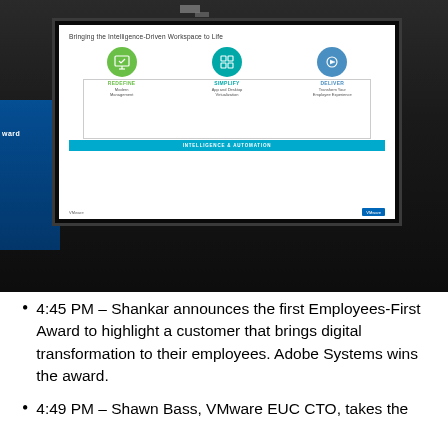[Figure (photo): Conference room photo showing a projection screen displaying a VMware slide titled 'Bringing the Intelligence-Driven Workspace to Life' with three icons: REDEFINE (Modern Management), SIMPLIFY (App and Desktop Virtualization), DELIVER (Transform Your Employee Experience), and an INTELLIGENCE & AUTOMATION bar at the bottom. A blue VMware branded sidebar is visible on the left side of the room.]
4:45 PM – Shankar announces the first Employees-First Award to highlight a customer that brings digital transformation to their employees. Adobe Systems wins the award.
4:49 PM – Shawn Bass, VMware EUC CTO, takes the stage to talk about Redefining Modern Management for...